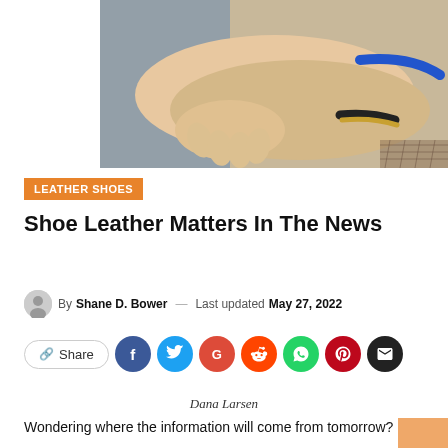[Figure (photo): Close-up photo of two crossed arms/hands resting, one wrist wearing a blue bracelet and another wearing a black and gold ring-shaped band]
LEATHER SHOES
Shoe Leather Matters In The News
By Shane D. Bower — Last updated May 27, 2022
[Figure (infographic): Social share bar with Share button and icons for Facebook, Twitter, Google+, Reddit, WhatsApp, Pinterest, and Email]
Dana Larsen
Wondering where the information will come from tomorrow?